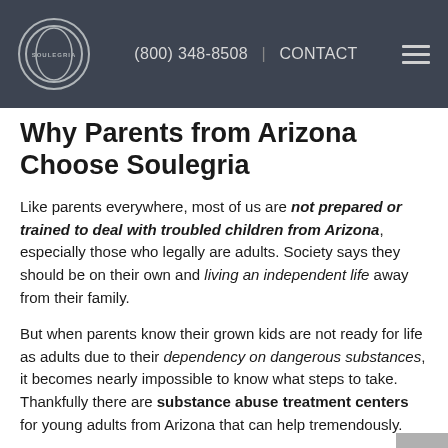(800) 348-8508  |  CONTACT
Why Parents from Arizona Choose Soulegria
Like parents everywhere, most of us are not prepared or trained to deal with troubled children from Arizona, especially those who legally are adults. Society says they should be on their own and living an independent life away from their family.
But when parents know their grown kids are not ready for life as adults due to their dependency on dangerous substances, it becomes nearly impossible to know what steps to take. Thankfully there are substance abuse treatment centers for young adults from Arizona that can help tremendously.
One of the best is Soulegria; they specialize in helping